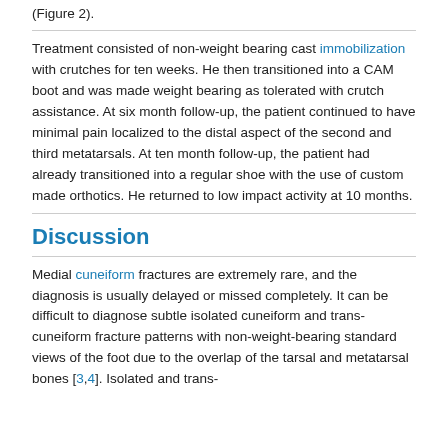(Figure 2).
Treatment consisted of non-weight bearing cast immobilization with crutches for ten weeks. He then transitioned into a CAM boot and was made weight bearing as tolerated with crutch assistance. At six month follow-up, the patient continued to have minimal pain localized to the distal aspect of the second and third metatarsals. At ten month follow-up, the patient had already transitioned into a regular shoe with the use of custom made orthotics. He returned to low impact activity at 10 months.
Discussion
Medial cuneiform fractures are extremely rare, and the diagnosis is usually delayed or missed completely. It can be difficult to diagnose subtle isolated cuneiform and trans-cuneiform fracture patterns with non-weight-bearing standard views of the foot due to the overlap of the tarsal and metatarsal bones [3,4]. Isolated and trans-